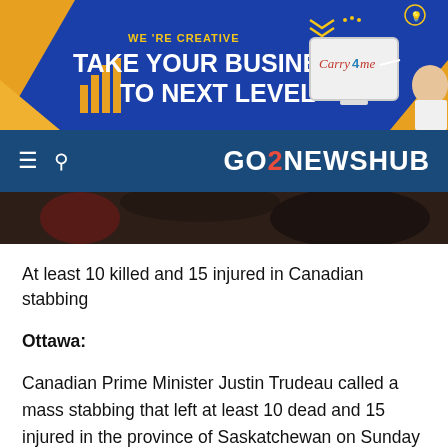[Figure (illustration): Blue advertisement banner for Carry4me with text: WE'RE CREATIVE, TAKE YOUR BUSINESS TO NEXT LEVEL, with orange accents and a man pointing at a laptop]
GO2NEWSHUB
[Figure (photo): Partial photo strip showing people in background, cropped]
At least 10 killed and 15 injured in Canadian stabbing
Ottawa:
Canadian Prime Minister Justin Trudeau called a mass stabbing that left at least 10 dead and 15 injured in the province of Saskatchewan on Sunday “appalling and heartbreaking”